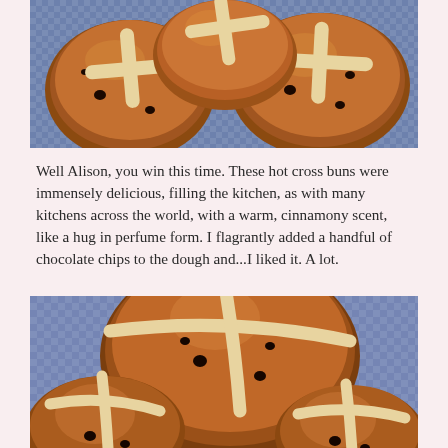[Figure (photo): Close-up photograph of hot cross buns with white cross piping on top, showing dark chocolate chips, arranged on a blue checked cloth background.]
Well Alison, you win this time. These hot cross buns were immensely delicious, filling the kitchen, as with many kitchens across the world, with a warm, cinnamony scent, like a hug in perfume form. I flagrantly added a handful of chocolate chips to the dough and...I liked it. A lot.
[Figure (photo): Close-up photograph of hot cross buns from a lower angle, showing the white cross piping on golden-brown buns with chocolate chips, on a blue checked cloth.]